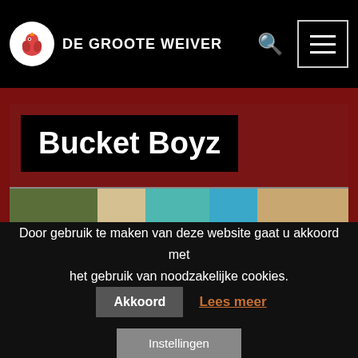DE GROOTE WEIVER
Bucket Boyz
Geen evenementen.
Geweest
[Figure (screenshot): Partial image strip showing colored segments at bottom of main content]
Door gebruik te maken van deze website gaat u akkoord met het gebruik van noodzakelijke cookies.
Akkoord
Lees meer
Instellingen